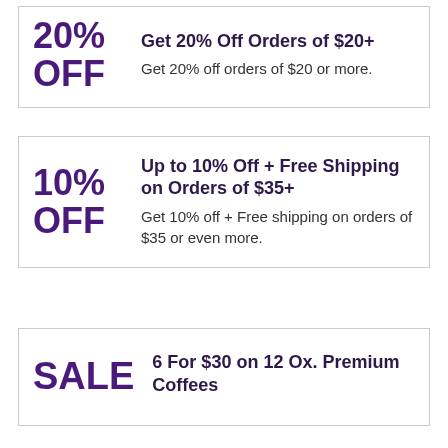Get 20% Off Orders of $20+
Get 20% off orders of $20 or more.
Up to 10% Off + Free Shipping on Orders of $35+
Get 10% off + Free shipping on orders of $35 or even more.
6 For $30 on 12 Ox. Premium Coffees